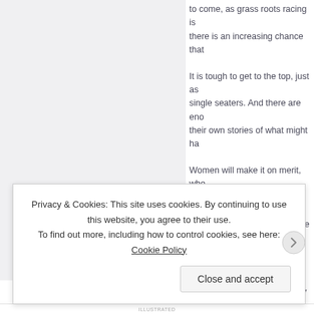to come, as grass roots racing is there is an increasing chance that
It is tough to get to the top, just as single seaters. And there are enough their own stories of what might ha
Women will make it on merit, whe Just look at the results at the wee top step… again. Women have th
But women are making their way they will face hurdles, but they wil them.
What...               ef L,
Privacy & Cookies: This site uses cookies. By continuing to use this website, you agree to their use.
To find out more, including how to control cookies, see here: Cookie Policy
Close and accept